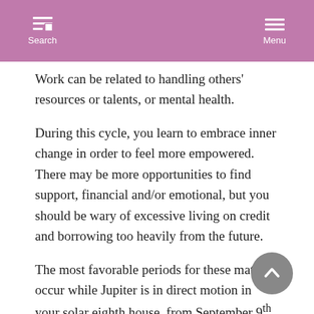Search  Menu
Work can be related to handling others' resources or talents, or mental health.
During this cycle, you learn to embrace inner change in order to feel more empowered. There may be more opportunities to find support, financial and/or emotional, but you should be wary of excessive living on credit and borrowing too heavily from the future.
The most favorable periods for these matters occur while Jupiter is in direct motion in your solar eighth house, from September 9th, 2016, to February 6th, 2017, and then from June 9th to October 10th, 2017.